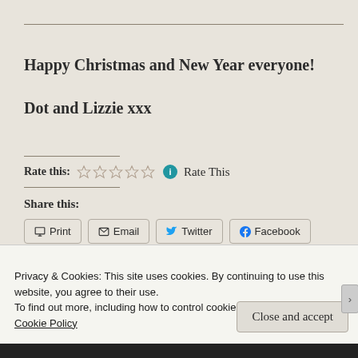Happy Christmas and New Year everyone!
Dot and Lizzie xxx
Rate this: ☆☆☆☆☆ ⓘ Rate This
Share this:
Print  Email  Twitter  Facebook  More
Privacy & Cookies: This site uses cookies. By continuing to use this website, you agree to their use.
To find out more, including how to control cookies, see here:
Cookie Policy
Close and accept